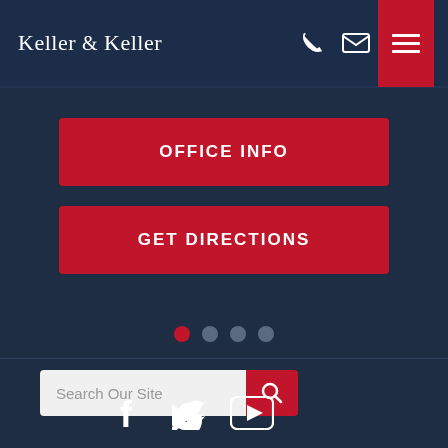Keller & Keller
OFFICE INFO
GET DIRECTIONS
[Figure (other): Carousel pagination dots — first dot active (red), three inactive dots]
Search Our Site
[Figure (other): Social media icons: Facebook, Twitter, YouTube]